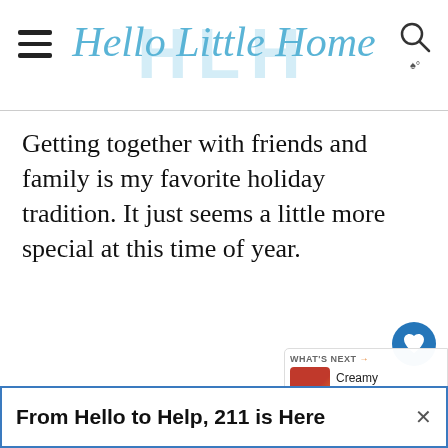Hello Little Home
Getting together with friends and family is my favorite holiday tradition. It just seems a little more special at this time of year.
Unless it's one of the big days - you know, Thanksgiving, Christmas, or New Year's, I like to keep the food casual and easy. Guests are more relaxed when they don't
[Figure (screenshot): What's Next widget showing Creamy Tomato... with food image]
[Figure (other): Ad banner: From Hello to Help, 211 is Here with close button]